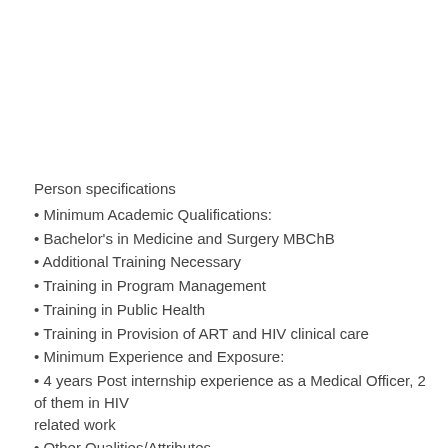Person specifications
• Minimum Academic Qualifications:
• Bachelor's in Medicine and Surgery MBChB
• Additional Training Necessary
• Training in Program Management
• Training in Public Health
• Training in Provision of ART and HIV clinical care
• Minimum Experience and Exposure:
• 4 years Post internship experience as a Medical Officer, 2 of them in HIV related work
• Other Qualities/Attributes
• Integrity